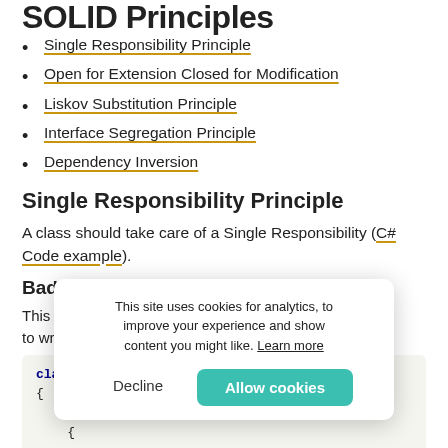SOLID Principles
Single Responsibility Principle
Open for Extension Closed for Modification
Liskov Substitution Principle
Interface Segregation Principle
Dependency Inversion
Single Responsibility Principle
A class should take care of a Single Responsibility (C# Code example).
Bad Way
This Add method does too much. It shouldn't know how to write to the database. It also handles customers.
class Customer
{
    void Add(Database db)
    {